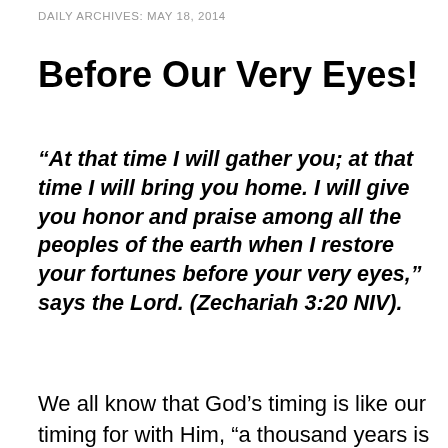DAILY ARCHIVES: MAY 18, 2014
Before Our Very Eyes!
“At that time I will gather you; at that time I will bring you home. I will give you honor and praise among all the peoples of the earth when I restore your fortunes before your very eyes,” says the Lord. (Zechariah 3:20 NIV).
We all know that God’s timing is like our timing for with Him, “a thousand years is but a day and a day a thousand
Privacy & Cookies: This site uses cookies. By continuing to use this website, you agree to their use.
To find out more, including how to control cookies, see here: Cookie Policy
time God says it is; not us. When He will gather us and